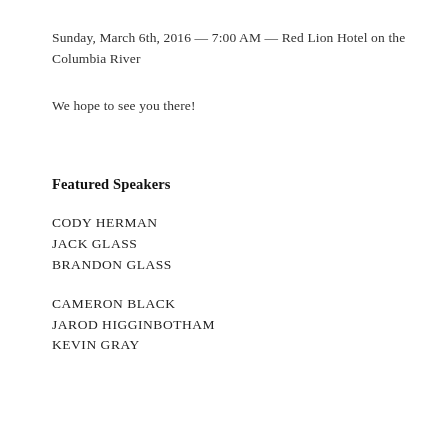Sunday, March 6th, 2016 — 7:00 AM — Red Lion Hotel on the Columbia River
We hope to see you there!
Featured Speakers
CODY HERMAN
JACK GLASS
BRANDON GLASS
CAMERON BLACK
JAROD HIGGINBOTHAM
KEVIN GRAY